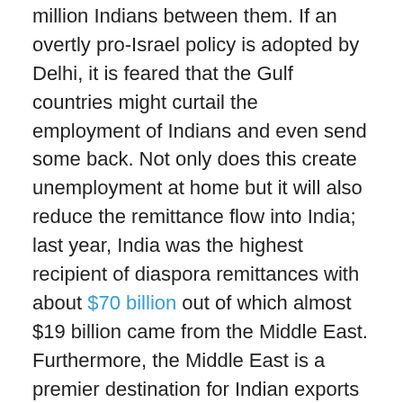million Indians between them. If an overtly pro-Israel policy is adopted by Delhi, it is feared that the Gulf countries might curtail the employment of Indians and even send some back. Not only does this create unemployment at home but it will also reduce the remittance flow into India; last year, India was the highest recipient of diaspora remittances with about $70 billion out of which almost $19 billion came from the Middle East. Furthermore, the Middle East is a premier destination for Indian exports and equally importantly, the source of some 60 per cent of India's hydrocarbons.
However, it is unlikely that any move by the Modi government will see a drastic shift on the ground: it is unlikely that the Gulf states will expel thousands of Indians or refuse to sell oil to India on the basis of a single state